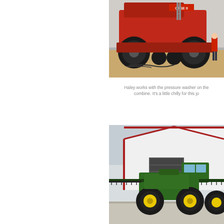[Figure (photo): Red Case IH combine harvester parked inside a large metal building/barn. A person in red is visible near the wall to the right. The combine is viewed from the rear, showing large tires and machinery.]
Haley works with the pressure washer on the combine. It's a little chilly for this jo
[Figure (photo): John Deere self-propelled sprayer with wide boom arms extended, parked on a concrete pad in front of a white metal building with red trim. The sprayer has distinctive yellow wheels.]